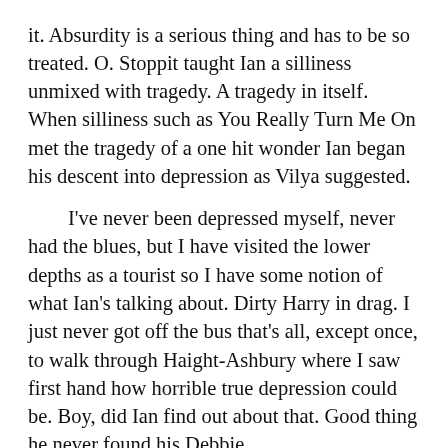it.  Absurdity is a serious thing and has to be so treated.  O. Stoppit taught Ian a silliness unmixed with tragedy.  A tragedy in itself.  When silliness such as You Really Turn Me On met the tragedy of a one hit wonder Ian began his descent into depression as Vilya suggested.
I've never been depressed myself, never had the blues, but I have visited the lower depths as a tourist so I have some notion of what Ian's talking about.  Dirty Harry in drag.  I just never got off the bus that's all, except once, to walk through Haight-Ashbury where I saw first hand how horrible true depression could be.  Boy, did Ian find out about that.  Good thing he never found his Debbie.
In his narrative combining grim humor with his developing depression Ian gets off some rippers.  I had a good many uproarious belly floppers.  Try these few lines.